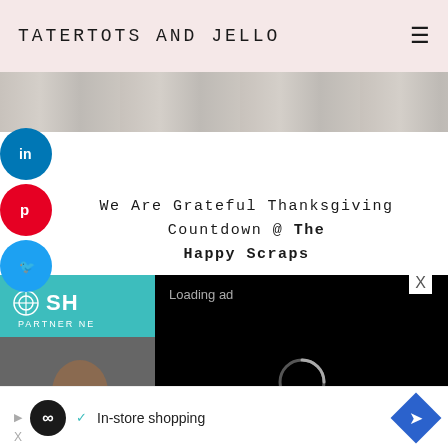TATERTOTS AND JELLO
[Figure (photo): Partial image strip of a wooden/neutral surface visible at top below header]
We Are Grateful Thanksgiving Countdown @ The Happy Scraps
[Figure (screenshot): SHE partner network advertisement with teal background, logo, woman photo, and 'WE HELP CONTENT CREATORS' text]
[Figure (screenshot): Black video ad overlay showing 'Loading ad' text with spinner, pause button, fullscreen button, and mute button]
[Figure (screenshot): Bottom banner ad: play icon, black circle with infinity symbol, checkmark 'In-store shopping', blue diamond with arrow icon]